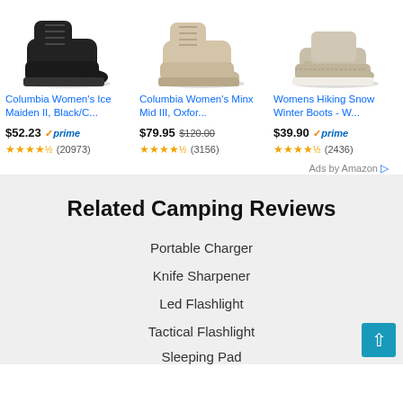[Figure (photo): Black Columbia Women's Ice Maiden II hiking boot]
Columbia Women's Ice Maiden II, Black/C...
$52.23 ✓prime ★★★★½ (20973)
[Figure (photo): Beige Columbia Women's Minx Mid III oxford hiking boot]
Columbia Women's Minx Mid III, Oxfor...
$79.95 $120.00 ★★★★½ (3156)
[Figure (photo): Tan/beige Womens Hiking Snow Winter Boot]
Womens Hiking Snow Winter Boots - W...
$39.90 ✓prime ★★★★½ (2436)
Ads by Amazon ▷
Related Camping Reviews
Portable Charger
Knife Sharpener
Led Flashlight
Tactical Flashlight
Sleeping Pad